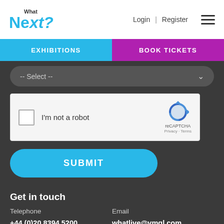[Figure (logo): What Next? logo with cyan lettering]
Login | Register
EXHIBITIONS
BOOK TICKETS
-- Select --
[Figure (other): reCAPTCHA widget with checkbox labeled I'm not a robot]
SUBMIT
Get in touch
Telephone
Email
+44 (0)20 8394 5200
whatlive@vmgl.com